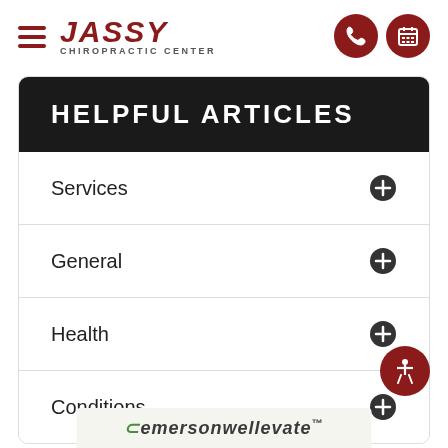[Figure (logo): Jassy Chiropractic Center logo with hamburger menu icon on left and phone/calendar icons on right]
HELPFUL ARTICLES
Services
General
Health
Conditions